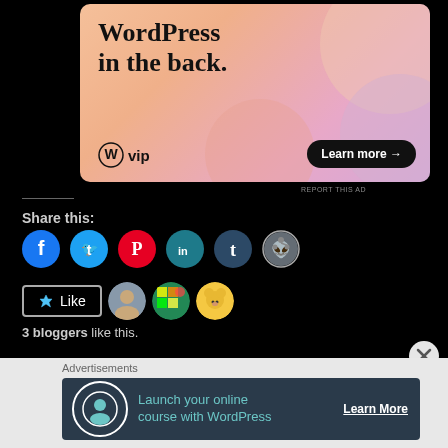[Figure (screenshot): WordPress VIP advertisement banner with peach/lavender gradient background. Large text reads 'WordPress in the back.' with WordPress VIP logo and 'Learn more →' button.]
REPORT THIS AD
Share this:
[Figure (infographic): Row of social media share icons: Facebook (blue), Twitter (cyan), Pinterest (red), LinkedIn (teal), Tumblr (dark teal), Reddit (light blue/white)]
[Figure (infographic): Like button with star icon and three blogger avatar thumbnails]
3 bloggers like this.
Advertisements
[Figure (screenshot): Advertisement: 'Launch your online course with WordPress' with Learn More button on dark navy background]